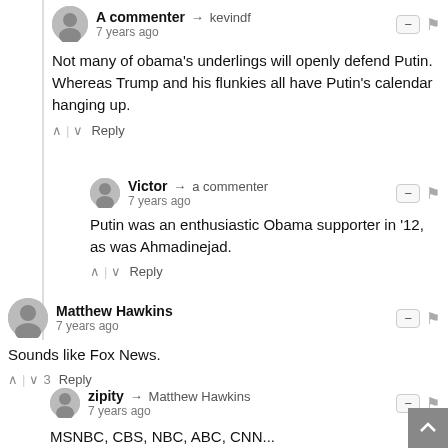A commenter → kevindf
7 years ago
Not many of obama's underlings will openly defend Putin. Whereas Trump and his flunkies all have Putin's calendar hanging up.
Victor → a commenter
7 years ago
Putin was an enthusiastic Obama supporter in '12, as was Ahmadinejad.
Matthew Hawkins
7 years ago
Sounds like Fox News.
zipity → Matthew Hawkins
7 years ago
MSNBC, CBS, NBC, ABC, CNN...